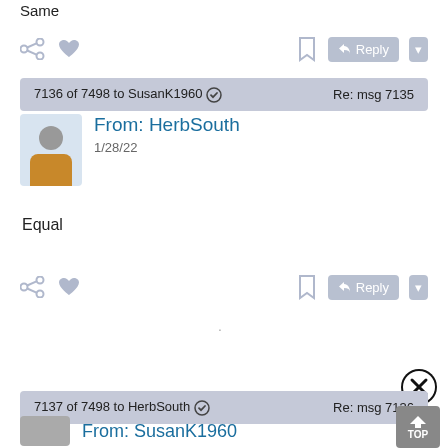Same
7136 of 7498 to SusanK1960 ✓  Re: msg 7135
From: HerbSouth
1/28/22
Equal
7137 of 7498 to HerbSouth ✓  Re: msg 7136
From: SusanK1960